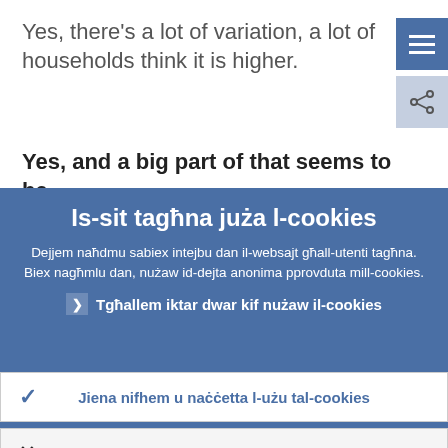Yes, there's a lot of variation, a lot of households think it is higher.
Yes, and a big part of that seems to be
Is-sit tagħna juża l-cookies
Dejjem naħdmu sabiex intejbu dan il-websajt għall-utenti tagħna. Biex nagħmlu dan, nużaw id-dejta anonima pprovduta mill-cookies.
❯ Tgħallem iktar dwar kif nużaw il-cookies
✓ Jiena nifhem u naċċetta l-użu tal-cookies
✗ Jiena ma naċċettax l-użu tal-cookies